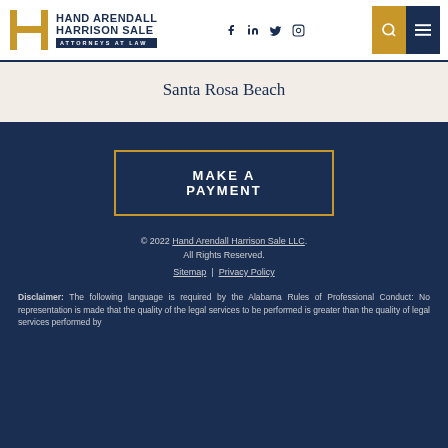[Figure (logo): Hand Arendall Harrison Sale – Attorneys at Law logo with stylized H letterform in gold/amber]
Santa Rosa Beach
MAKE A PAYMENT
© 2022 Hand Arendall Harrison Sale LLC. All Rights Reserved. Sitemap | Privacy Policy
Disclaimer: The following language is required by the Alabama Rules of Professional Conduct: No representation is made that the quality of the legal services to be performed is greater than the quality of legal services performed by